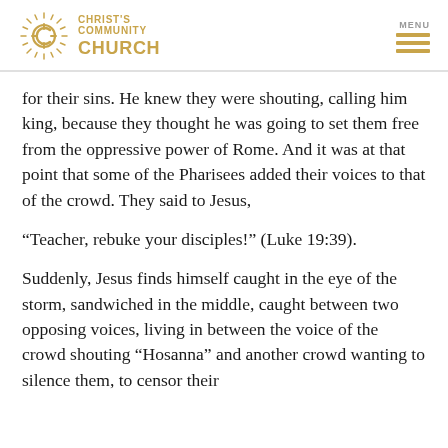CHRIST'S COMMUNITY CHURCH | MENU
for their sins. He knew they were shouting, calling him king, because they thought he was going to set them free from the oppressive power of Rome. And it was at that point that some of the Pharisees added their voices to that of the crowd. They said to Jesus,
“Teacher, rebuke your disciples!” (Luke 19:39).
Suddenly, Jesus finds himself caught in the eye of the storm, sandwiched in the middle, caught between two opposing voices, living in between the voice of the crowd shouting “Hosanna” and another crowd wanting to silence them, to censor their